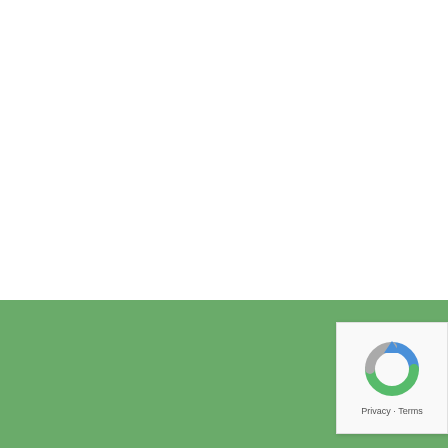[Figure (photo): White/blank upper section of a webpage screenshot]
It's a dog's life at Natural P
[Figure (logo): Google reCAPTCHA badge with blue/green arrow icon and Privacy · Terms text]
Book Now